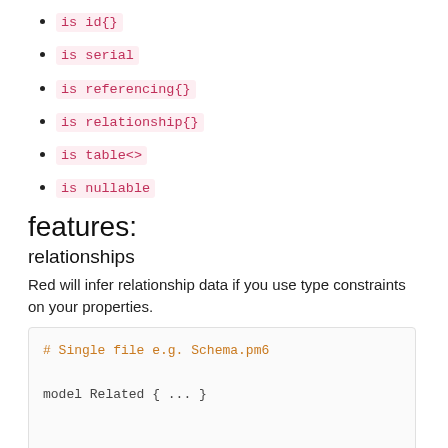is id{}
is serial
is referencing{}
is relationship{}
is table<>
is nullable
features:
relationships
Red will infer relationship data if you use type constraints on your properties.
# Single file e.g. Schema.pm6

model Related { ... }


# belongs to